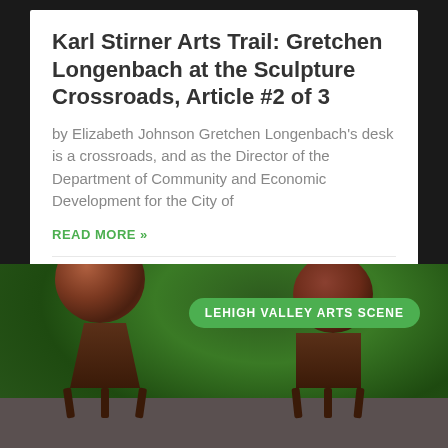Karl Stirner Arts Trail: Gretchen Longenbach at the Sculpture Crossroads, Article #2 of 3
by Elizabeth Johnson Gretchen Longenbach's desk is a crossroads, and as the Director of the Department of Community and Economic Development for the City of
READ MORE »
September 22, 2014  •  1 Comment
[Figure (photo): Two large spherical rust-colored metal sculptures mounted on ornate wooden stands/tables, set outdoors against a green foliage background. A green badge reads 'LEHIGH VALLEY ARTS SCENE'.]